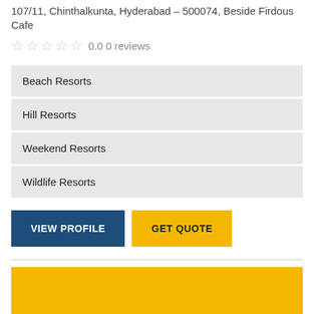107/11, Chinthalkunta, Hyderabad – 500074, Beside Firdous Cafe
0.0 0 reviews
Beach Resorts
Hill Resorts
Weekend Resorts
Wildlife Resorts
VIEW PROFILE
GET QUOTE
[Figure (other): Yellow promotional banner block]